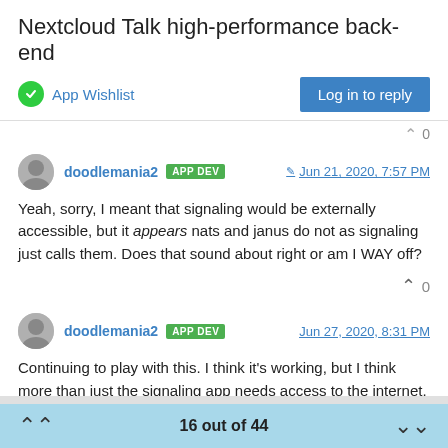Nextcloud Talk high-performance back-end
App Wishlist
Log in to reply
doodlemania2 APP DEV Jun 21, 2020, 7:57 PM
Yeah, sorry, I meant that signaling would be externally accessible, but it appears nats and janus do not as signaling just calls them. Does that sound about right or am I WAY off?
0
doodlemania2 APP DEV Jun 27, 2020, 8:31 PM
Continuing to play with this. I think it's working, but I think more than just the signaling app needs access to the internet. I think the
16 out of 44